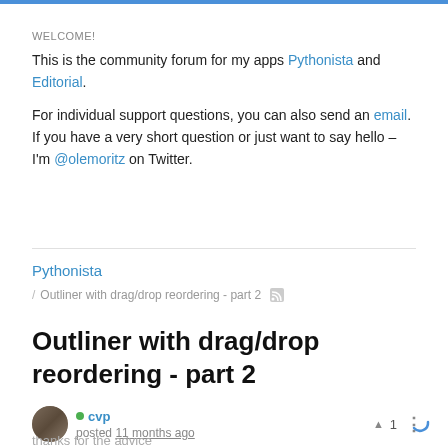WELCOME!
This is the community forum for my apps Pythonista and Editorial.
For individual support questions, you can also send an email. If you have a very short question or just want to say hello – I'm @olemoritz on Twitter.
Pythonista
/ Outliner with drag/drop reordering - part 2
Outliner with drag/drop reordering - part 2
cvp posted 11 months ago
thanks for the advice